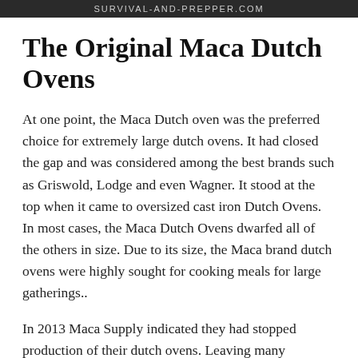SURVIVAL-AND-PREPPER.COM
The Original Maca Dutch Ovens
At one point, the Maca Dutch oven was the preferred choice for extremely large dutch ovens. It had closed the gap and was considered among the best brands such as Griswold, Lodge and even Wagner. It stood at the top when it came to oversized cast iron Dutch Ovens. In most cases, the Maca Dutch Ovens dwarfed all of the others in size. Due to its size, the Maca brand dutch ovens were highly sought for cooking meals for large gatherings..
In 2013 Maca Supply indicated they had stopped production of their dutch ovens. Leaving many